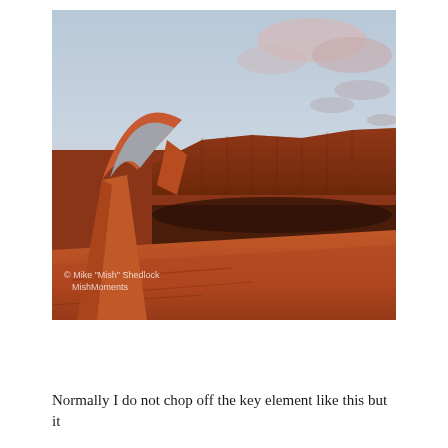[Figure (photo): Photograph of Delicate Arch at sunset in Arches National Park. The iconic red sandstone arch dominates the left side of the frame, glowing orange-red in warm sunset light. Behind it stretches a vast canyon landscape with red rock mesa cliffs. The sky above is pale blue-gray with pink-tinged clouds. In the lower-left corner of the photo is a watermark reading '© Mike "Mish" Shedlock' and below it 'MishMoments'.]
Normally I do not chop off the key element like this but it